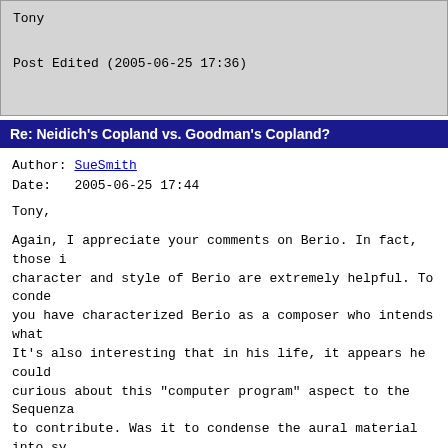Tony

Post Edited (2005-06-25 17:36)
Re: Neidich's Copland vs. Goodman's Copland?
Author: SueSmith
Date:   2005-06-25 17:44
Tony,

Again, I appreciate your comments on Berio. In fact, those i character and style of Berio are extremely helpful. To conde you have characterized Berio as a composer who intends what It's also interesting that in his life, it appears he could curious about this "computer program" aspect to the Sequenza to contribute. Was it to condense the aural material into sy a monitor?

As for Stravinsky, I've personally found historical research have expanded upon that in my post. We can all agree that St many of his themes from Folk Music - and not too long ago th this board about the origins of the theme of the First Piece instructor of mine classified the First Piece as a dialogue African tribal themes. Whether you agree with this assessmen caused me to reexamine the First Piece and do more research